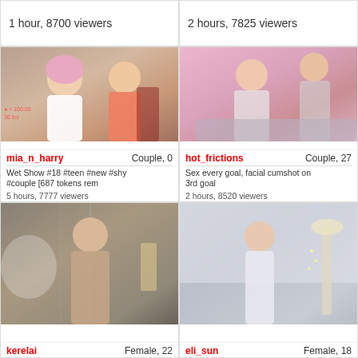1 hour, 8700 viewers
2 hours, 7825 viewers
[Figure (photo): Couple webcam thumbnail - mia_n_harry]
mia_n_harry   Couple, 0
Wet Show #18 #teen #new #shy #couple [687 tokens rem
5 hours, 7777 viewers
[Figure (photo): Couple webcam thumbnail - hot_frictions]
hot_frictions   Couple, 27
Sex every goal, facial cumshot on 3rd goal
2 hours, 8520 viewers
[Figure (photo): Female webcam thumbnail - kerelai]
kerelai   Female, 22
[Figure (photo): Female webcam thumbnail - eli_sun]
eli_sun   Female, 18